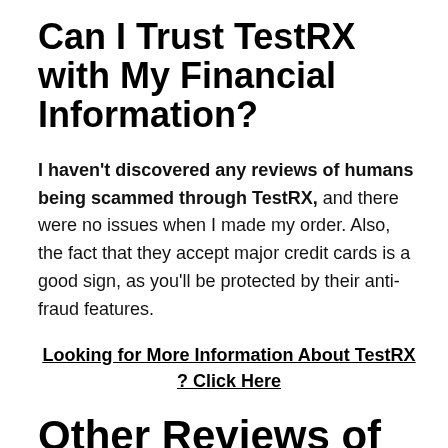Can I Trust TestRX with My Financial Information?
I haven't discovered any reviews of humans being scammed through TestRX, and there were no issues when I made my order. Also, the fact that they accept major credit cards is a good sign, as you'll be protected by their anti-fraud features.
Looking for More Information About TestRX ? Click Here
Other Reviews of TestRX